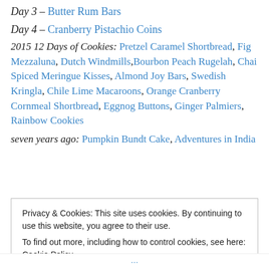Day 3 – Butter Rum Bars
Day 4 – Cranberry Pistachio Coins
2015 12 Days of Cookies: Pretzel Caramel Shortbread, Fig Mezzaluna, Dutch Windmills, Bourbon Peach Rugelah, Chai Spiced Meringue Kisses, Almond Joy Bars, Swedish Kringla, Chile Lime Macaroons, Orange Cranberry Cornmeal Shortbread, Eggnog Buttons, Ginger Palmiers, Rainbow Cookies
seven years ago: Pumpkin Bundt Cake, Adventures in India
Privacy & Cookies: This site uses cookies. By continuing to use this website, you agree to their use. To find out more, including how to control cookies, see here: Cookie Policy
Close and accept